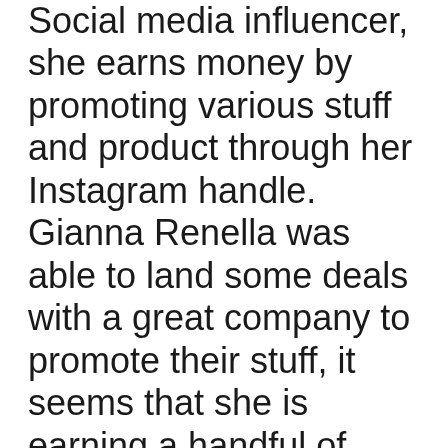Social media influencer, she earns money by promoting various stuff and product through her Instagram handle. Gianna Renella was able to land some deals with a great company to promote their stuff, it seems that she is earning a handful of money through social media reach.
Besides Instagram, she has also a Huge social media reach on various platforms such as TikTok